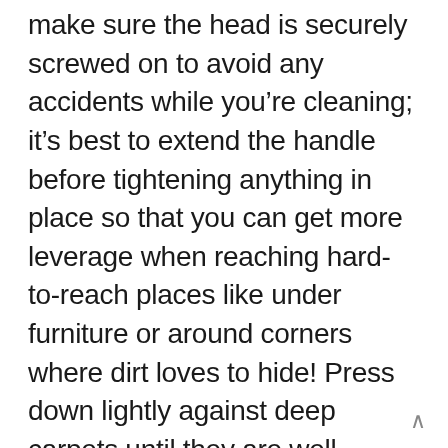make sure the head is securely screwed on to avoid any accidents while you're cleaning; it's best to extend the handle before tightening anything in place so that you can get more leverage when reaching hard-to-reach places like under furniture or around corners where dirt loves to hide! Press down lightly against deep carpets until they are well covered with pressure, then move across using short strokes for a thorough clean. If there seems too much hair left behind on the bristles by sweeping (hint: this happens all of the time), use either your hands or a comb to remove them.